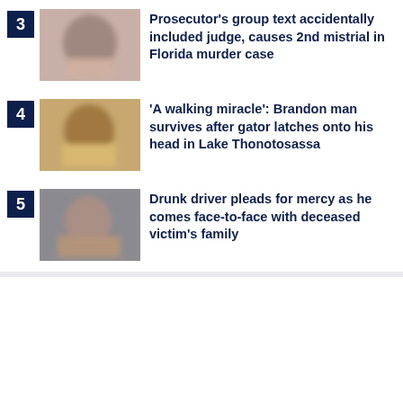3 Prosecutor's group text accidentally included judge, causes 2nd mistrial in Florida murder case
4 'A walking miracle': Brandon man survives after gator latches onto his head in Lake Thonotosassa
5 Drunk driver pleads for mercy as he comes face-to-face with deceased victim's family